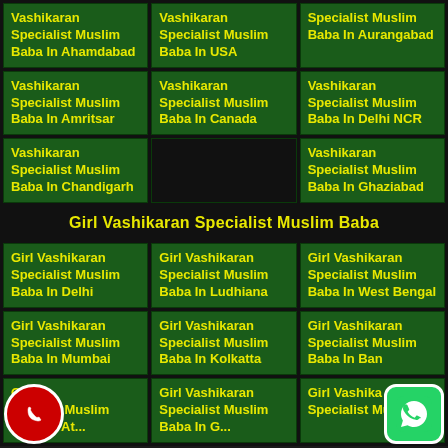Vashikaran Specialist Muslim Baba In Ahamdabad
Vashikaran Specialist Muslim Baba In USA
Specialist Muslim Baba In Aurangabad
Vashikaran Specialist Muslim Baba In Amritsar
Vashikaran Specialist Muslim Baba In Canada
Vashikaran Specialist Muslim Baba In Delhi NCR
Vashikaran Specialist Muslim Baba In Chandigarh
Vashikaran Specialist Muslim Baba In Ghaziabad
Girl Vashikaran Specialist Muslim Baba
Girl Vashikaran Specialist Muslim Baba In Delhi
Girl Vashikaran Specialist Muslim Baba In Ludhiana
Girl Vashikaran Specialist Muslim Baba In West Bengal
Girl Vashikaran Specialist Muslim Baba In Mumbai
Girl Vashikaran Specialist Muslim Baba In Kolkatta
Girl Vashikaran Specialist Muslim Baba In Ban...
Girl Vashikaran Specialist Muslim Baba In...
Girl Vashikaran Specialist Muslim Baba In G...
Girl Vashika Specialist Musli...